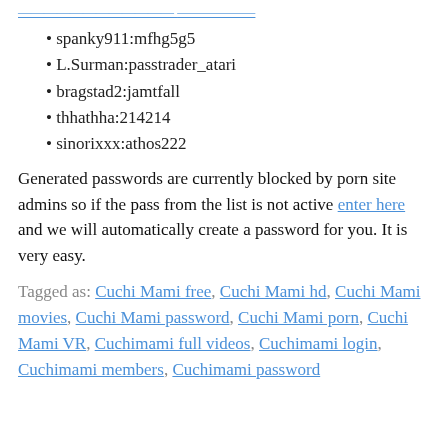[link] [truncated text] ...
spanky911:mfhg5g5
L.Surman:passtrader_atari
bragstad2:jamtfall
thhathha:214214
sinorixxx:athos222
Generated passwords are currently blocked by porn site admins so if the pass from the list is not active enter here and we will automatically create a password for you. It is very easy.
Tagged as: Cuchi Mami free, Cuchi Mami hd, Cuchi Mami movies, Cuchi Mami password, Cuchi Mami porn, Cuchi Mami VR, Cuchimami full videos, Cuchimami login, Cuchimami members, Cuchimami password